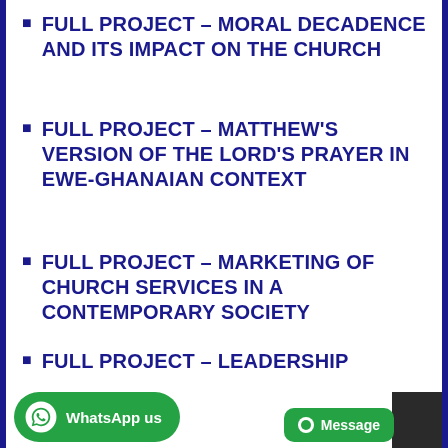FULL PROJECT – MORAL DECADENCE AND ITS IMPACT ON THE CHURCH
FULL PROJECT – MATTHEW'S VERSION OF THE LORD'S PRAYER IN EWE-GHANAIAN CONTEXT
FULL PROJECT – MARKETING OF CHURCH SERVICES IN A CONTEMPORARY SOCIETY
FULL PROJECT – LEADERSHIP